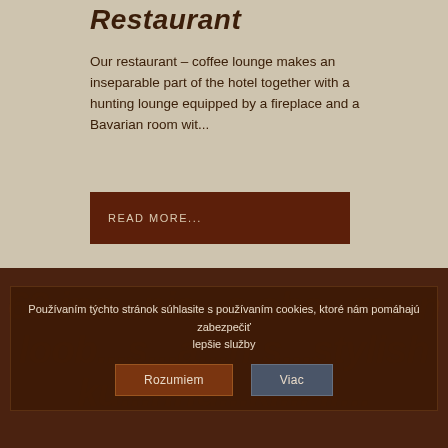Restaurant
Our restaurant – coffee lounge makes an inseparable part of the hotel together with a hunting lounge equipped by a fireplace and a Bavarian room wit...
READ MORE...
69 ine...nis...s obe...ra...n loob...s...a...n s...stylish ku...nnu...ki... ii...
Používaním týchto stránok súhlasite s používaním cookies, ktoré nám pomáhajú zabezpečiť lepšie služby
Rozumiem
Viac